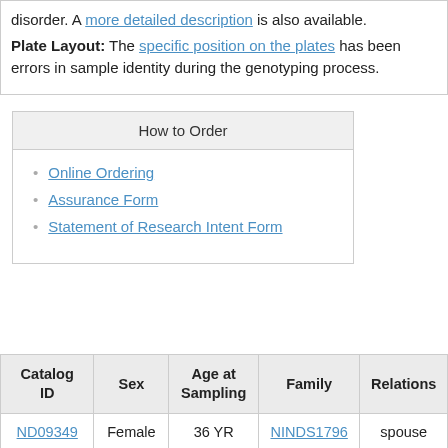disorder. A more detailed description is also available. Plate Layout: The specific position on the plates has been errors in sample identity during the genotyping process.
How to Order
Online Ordering
Assurance Form
Statement of Research Intent Form
| Catalog ID | Sex | Age at Sampling | Family | Relations |
| --- | --- | --- | --- | --- |
| ND09349 | Female | 36 YR | NINDS1796 | spouse |